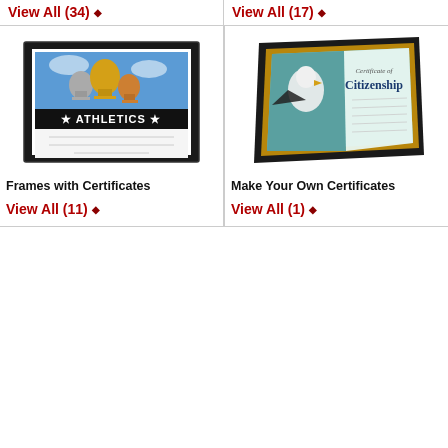View All (34)
View All (17)
[Figure (photo): Black framed Athletics certificate with trophy images]
[Figure (photo): Black and gold framed Certificate of Citizenship with eagle image]
Frames with Certificates
Make Your Own Certificates
View All (11)
View All (1)